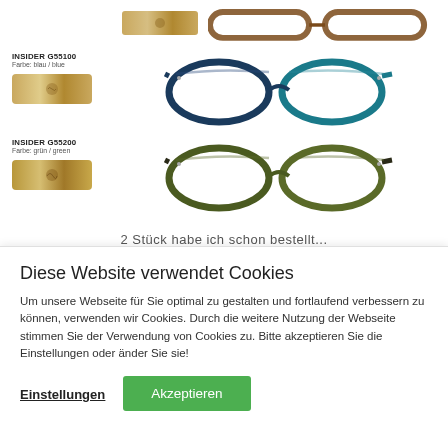[Figure (photo): Product image: INSIDER G55100 reading glasses in blue/blau with cork case, and INSIDER G55200 reading glasses in green/grün with cork case. Top portion shows partial view of another model. Each row shows product label, cork case, and eyeglasses front view.]
2 Stück habe ich schon bestellt...
Diese Website verwendet Cookies
Um unsere Webseite für Sie optimal zu gestalten und fortlaufend verbessern zu können, verwenden wir Cookies. Durch die weitere Nutzung der Webseite stimmen Sie der Verwendung von Cookies zu. Bitte akzeptieren Sie die Einstellungen oder änder Sie sie!
Einstellungen
Akzeptieren